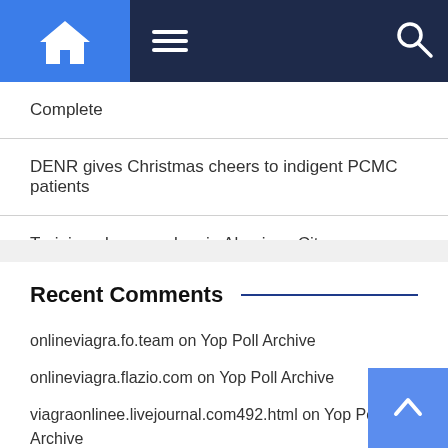Navigation bar with home, menu, and search icons
Complete
DENR gives Christmas cheers to indigent PCMC patients
Training plane crashes in Alaminos City
Recent Comments
onlineviagra.fo.team on Yop Poll Archive
onlineviagra.flazio.com on Yop Poll Archive
viagraonlinee.livejournal.com492.html on Yop Poll Archive
buy viagra delhi on Yop Poll Archive
https://viagraonlineee.wordpress.com/ on Yop Poll Archive